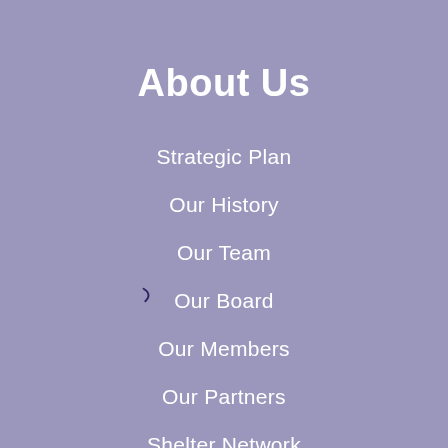About Us
Strategic Plan
Our History
Our Team
Our Board
Our Members
Our Partners
Shelter Network
Constitution
Annual Reports